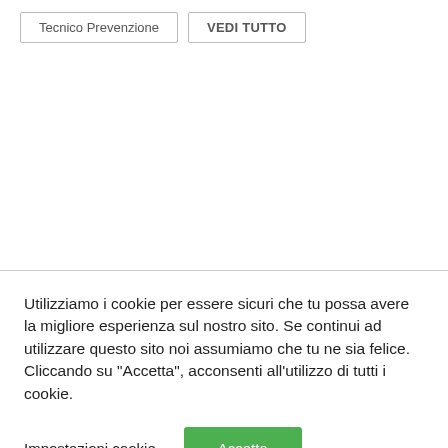Tecnico Prevenzione | VEDI TUTTO
Utilizziamo i cookie per essere sicuri che tu possa avere la migliore esperienza sul nostro sito. Se continui ad utilizzare questo sito noi assumiamo che tu ne sia felice. Cliccando su “Accetta”, acconsenti all’utilizzo di tutti i cookie.
Impostazioni cookie
Accetta